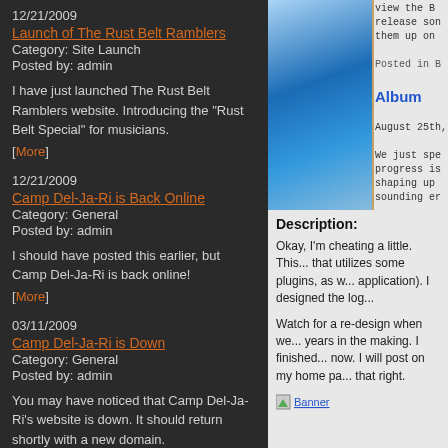12/21/2009
Launch of The Rust Belt Ramblers
Category: Site Launch
Posted by: admin
I have just launched The Rust Belt Ramblers website. Introducing the "Rust Belt Special" for musicians.
[More]
12/21/2009
Camp Del-Ja-Ri is Back Online
Category: General
Posted by: admin
I should have posted this earlier, but Camp Del-Ja-Ri is back online!
[More]
03/11/2009
Camp Del-Ja-Ri is Down
Category: General
Posted by: admin
You may have noticed that Camp Del-Ja-Ri's website is down. It should return shortly with a new domain.
[Figure (photo): Blue abstract image on the right side]
view the B... release son... them up on...
Posted in B...
Album...
August 25th, ...
We just spe... progress is... shaping up... sounding er...
Description:
Okay, I'm cheating a little. This... that utilizes some plugins, as w... application). I designed the log...
Watch for a re-design when we... years in the making. I finished... now. I will post on my home pa... that right.
[Figure (illustration): Banner image placeholder]